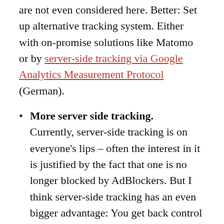are not even considered here. Better: Set up alternative tracking system. Either with on-promise solutions like Matomo or by server-side tracking via Google Analytics Measurement Protocol (German).
More server side tracking. Currently, server-side tracking is on everyone's lips – often the interest in it is justified by the fact that one is no longer blocked by AdBlockers. But I think server-side tracking has an even bigger advantage: You get back control over your data! Even Google has recognized that the trend goes in this direction – it is not without reason that there is the possibility to implement GTM server-side. Markus Baersch provides